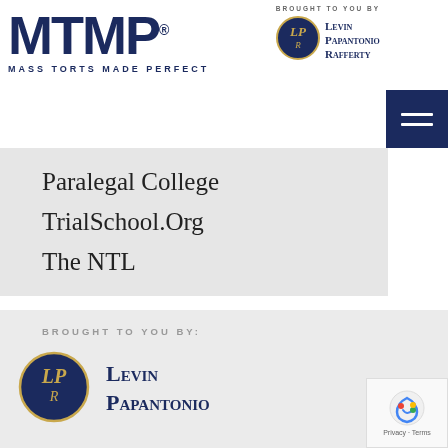[Figure (logo): MTMP Mass Torts Made Perfect logo — bold dark navy letters MTMP with registered trademark, tagline MASS TORTS MADE PERFECT]
BROUGHT TO YOU BY
[Figure (logo): Levin Papantonio Rafferty circular seal logo in navy and gold]
Levin
Papantonio
Rafferty
[Figure (other): Dark navy hamburger menu icon with three horizontal lines]
MTMP Connect
Paralegal College
TrialSchool.Org
The NTL
BROUGHT TO YOU BY:
[Figure (logo): Levin Papantonio Rafferty large circular seal logo in navy and gold]
Levin
Papantonio